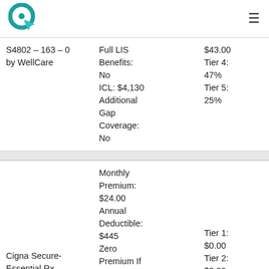Logo and navigation header
| Plan | Coverage Details | Cost Details |
| --- | --- | --- |
| S4802 – 163 – 0 by WellCare | Full LIS Benefits: No
ICL: $4,130
Additional Gap Coverage: No | $43.00
Tier 4: 47%
Tier 5: 25% |
| Cigna Secure-Essential Rx | Monthly Premium: $24.00
Annual Deductible: $445
Zero Premium If... | Tier 1: $0.00
Tier 2: $2.00
Tier 3:... |